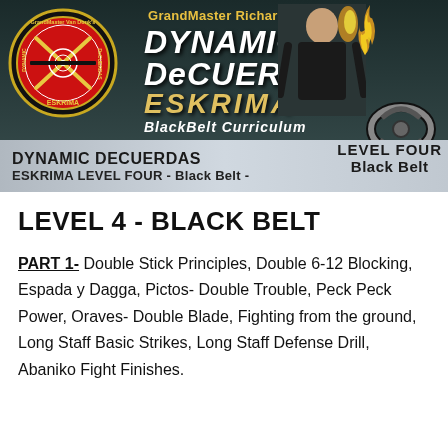[Figure (illustration): Header banner with dark teal/green background featuring GrandMaster Richard Van Donk's Dynamic DeCuerdas Eskrima BlackBelt Curriculum logo, circular red emblem on left, person photo, and belt symbol on right]
DYNAMIC DECUERDAS
ESKRIMA LEVEL FOUR - Black Belt -
LEVEL 4 - BLACK BELT
PART 1- Double Stick Principles, Double 6-12 Blocking, Espada y Dagga, Pictos- Double Trouble, Peck Peck Power, Oraves- Double Blade, Fighting from the ground, Long Staff Basic Strikes, Long Staff Defense Drill, Abaniko Fight Finishes.